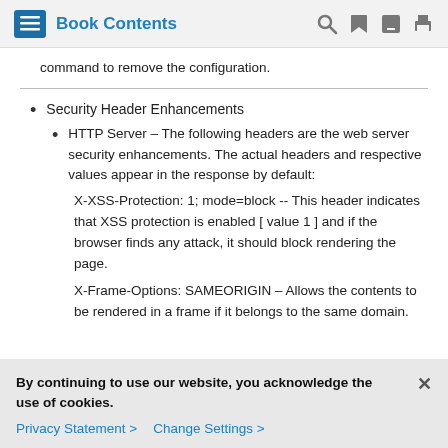Book Contents
command to remove the configuration.
Security Header Enhancements
HTTP Server – The following headers are the web server security enhancements. The actual headers and respective values appear in the response by default:
X-XSS-Protection: 1; mode=block -- This header indicates that XSS protection is enabled [ value 1 ] and if the browser finds any attack, it should block rendering the page.
X-Frame-Options: SAMEORIGIN – Allows the contents to be rendered in a frame if it belongs to the same domain.
By continuing to use our website, you acknowledge the use of cookies.
Privacy Statement > Change Settings >